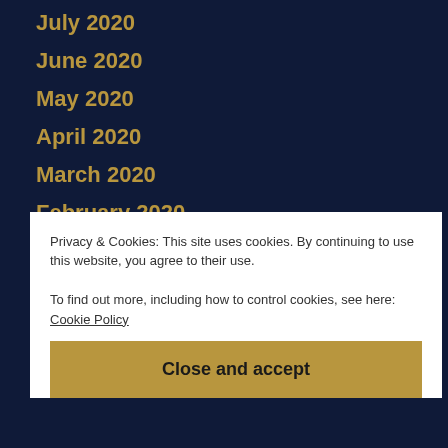July 2020
June 2020
May 2020
April 2020
March 2020
February 2020
January 2020
December 2019
October 2019
September 2019
August 2019
Privacy & Cookies: This site uses cookies. By continuing to use this website, you agree to their use. To find out more, including how to control cookies, see here: Cookie Policy
Close and accept